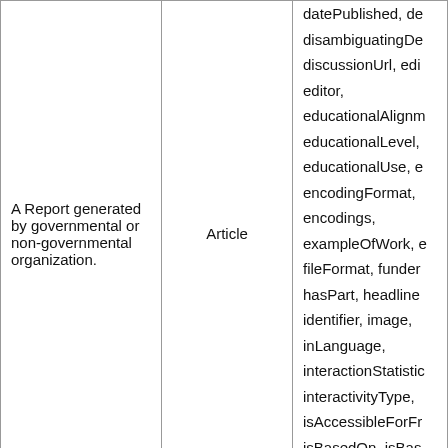| A Report generated by governmental or non-governmental organization. | Article | datePublished, de disambiguatingDe discussionUrl, edi editor, educationalAlignm educationalLevel, educationalUse, e encodingFormat, encodings, exampleOfWork, e fileFormat, funder hasPart, headline identifier, image, inLanguage, interactionStatistic interactivityType, isAccessibleForFr isBasedOn, isBas |